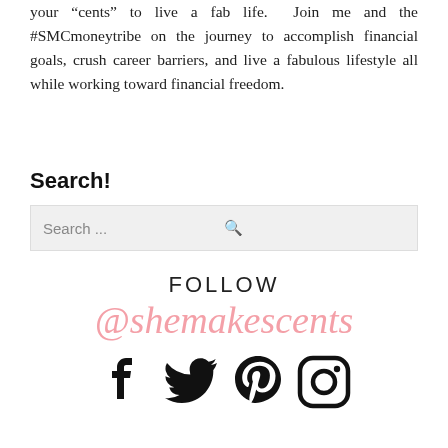your “cents” to live a fab life. Join me and the #SMCmoneytribe on the journey to accomplish financial goals, crush career barriers, and live a fabulous lifestyle all while working toward financial freedom.
Search!
[Figure (screenshot): Search input box with placeholder text 'Search ...' and a magnifying glass icon on the right]
[Figure (infographic): Follow @shemakescents social media section with FOLLOW text, @shemakescents in pink script, and four social media icons: Facebook, Twitter, Pinterest, Instagram]